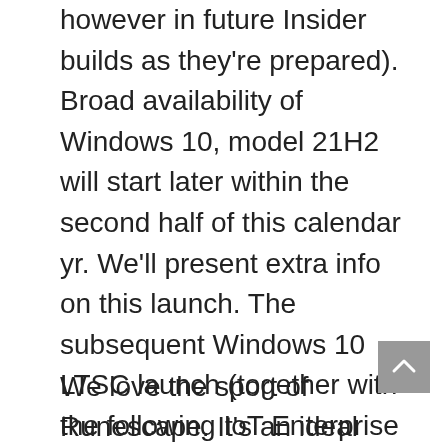however in future Insider builds as they're prepared). Broad availability of Windows 10, model 21H2 will start later within the second half of this calendar yr. We'll present extra info on this launch. The subsequent Windows 10 LTSC launch (together with the following IoT Enterprise LTSC launch) within the close to time period. You may at all times discover the newest Windows servicing and update info on the Windows launch well being hub, now obtainable in 10 languages. We sit up for listening to your suggestions.
We love the sport of Runescape. It's an ideal